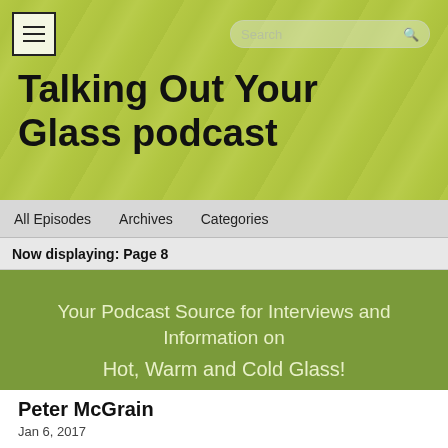[Figure (screenshot): Header banner with yellow-green textured background for 'Talking Out Your Glass podcast' website]
Talking Out Your Glass podcast
All Episodes   Archives   Categories
Now displaying: Page 8
Your Podcast Source for Interviews and Information on

Hot, Warm and Cold Glass!

www.glassartmagazine.com
Peter McGrain
Jan 6, 2017